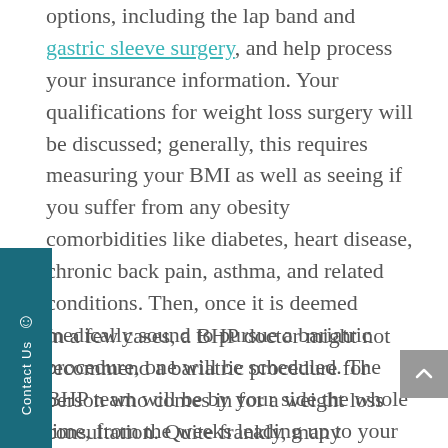options, including the lap band and gastric sleeve surgery, and help process your insurance information. Your qualifications for weight loss surgery will be discussed; generally, this requires measuring your BMI as well as seeing if you suffer from any obesity comorbidities like diabetes, heart disease, chronic back pain, asthma, and related conditions. Then, once it is deemed medically sound to pursue a bariatric procedure, one will be scheduled. The BHP team will be by your side the whole time, from the weeks leading up to your surgery to entirety of your recovery and successful weight loss.
In a few cases, a BHP doctor might not recommend a bariatric procedure for person who comes in for a weight loss consultation. Quite frankly, many patients might not even be truly obese but might believe that they are. Instead, a